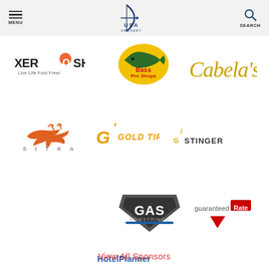MENU | USA Archery | SEARCH
[Figure (logo): Xero Shoes - Live Life Foot Free logo]
[Figure (logo): Bass Pro Shops logo]
[Figure (logo): Cabela's logo]
[Figure (logo): Sitka logo]
[Figure (logo): Gold Tip logo]
[Figure (logo): G Stinger logo]
[Figure (logo): GAS Bowstrings logo]
[Figure (logo): Guaranteed Rate logo]
[Figure (logo): HotelPlanner logo]
View All Sponsors